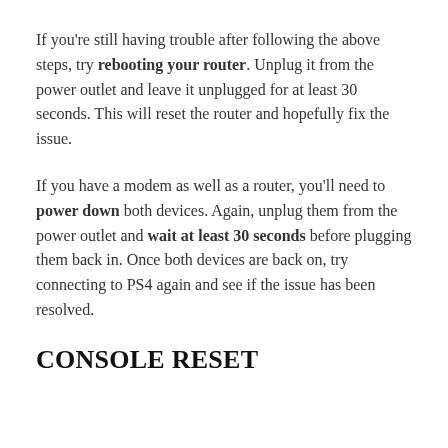If you're still having trouble after following the above steps, try rebooting your router. Unplug it from the power outlet and leave it unplugged for at least 30 seconds. This will reset the router and hopefully fix the issue.
If you have a modem as well as a router, you'll need to power down both devices. Again, unplug them from the power outlet and wait at least 30 seconds before plugging them back in. Once both devices are back on, try connecting to PS4 again and see if the issue has been resolved.
CONSOLE RESET